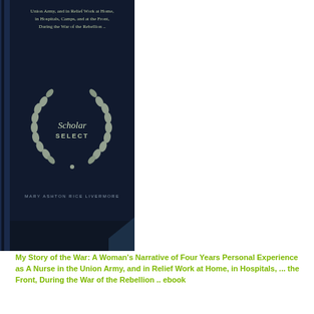[Figure (illustration): Book cover of 'My Story of the War' by Mary Ashton Rice Livermore. Dark navy blue cover with silver/grey subtitle text at top reading 'Union Army, and in Relief Work at Home, in Hospitals, Camps, and at the Front, During the War of the Rebellion ..'. A Scholar Select laurel wreath logo is centered on the cover. Author name 'MARY ASHTON RICE LIVERMORE' appears at the bottom in silver text.]
My Story of the War: A Woman's Narrative of Four Years Personal Experience as A Nurse in the Union Army, and in Relief Work at Home, in Hospitals, ... the Front, During the War of the Rebellion .. ebook